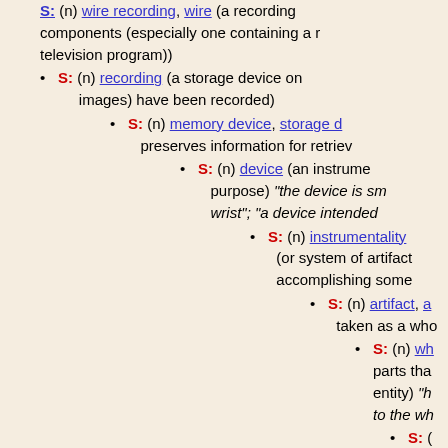components (especially one containing a r television program))
S: (n) recording (a storage device on images) have been recorded)
S: (n) memory device, storage d preserves information for retriev
S: (n) device (an instrume purpose) "the device is sm wrist"; "a device intended
S: (n) instrumentality (or system of artifact accomplishing some
S: (n) artifact, taken as a who
S: (n) wh parts tha entity) "h to the wh
S: ( tan enti was oth